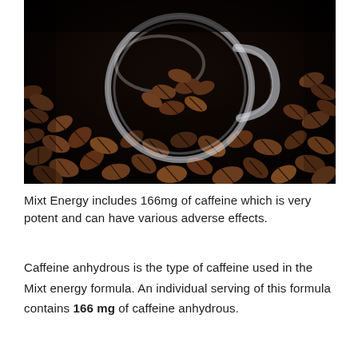[Figure (photo): A glass mug tipped on its side with roasted coffee beans spilling out, photographed on a dark background with coffee beans spread across the surface.]
Mixt Energy includes 166mg of caffeine which is very potent and can have various adverse effects.
Caffeine anhydrous is the type of caffeine used in the Mixt energy formula. An individual serving of this formula contains 166 mg of caffeine anhydrous.